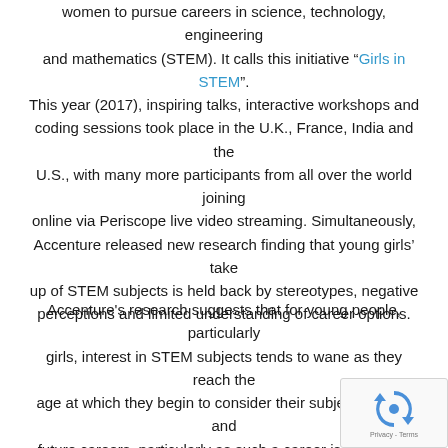women to pursue careers in science, technology, engineering and mathematics (STEM). It calls this initiative "Girls in STEM". This year (2017), inspiring talks, interactive workshops and coding sessions took place in the U.K., France, India and the U.S., with many more participants from all over the world joining online via Periscope live video streaming. Simultaneously, Accenture released new research finding that young girls' take up of STEM subjects is held back by stereotypes, negative perceptions and limited understanding of career options.
Accenture's research suggests that for young people, particularly girls, interest in STEM subjects tends to wane as they reach the age at which they begin to consider their subject choices and future careers, particularly as such a career is perceived as a "male" career. Digital fluency – the extent to which bo...